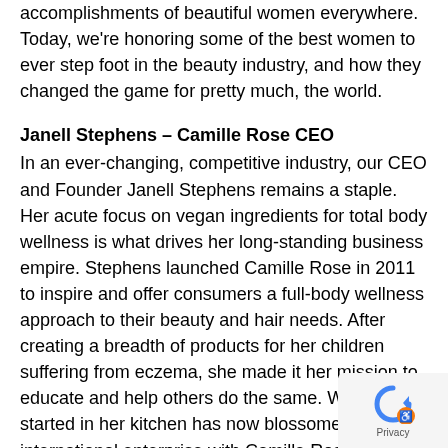accomplishments of beautiful women everywhere. Today, we're honoring some of the best women to ever step foot in the beauty industry, and how they changed the game for pretty much, the world.
Janell Stephens – Camille Rose CEO
In an ever-changing, competitive industry, our CEO and Founder Janell Stephens remains a staple. Her acute focus on vegan ingredients for total body wellness is what drives her long-standing business empire. Stephens launched Camille Rose in 2011 to inspire and offer consumers a full-body wellness approach to their beauty and hair needs. After creating a breadth of products for her children suffering from eczema, she made it her mission to educate and help others do the same. What started in her kitchen has now blossomed into an international enterprise with Camille Rose products available at national retail stores in the U.S., such as Target, Sally Beauty, Whole Foods, etc., as well as the U.K.